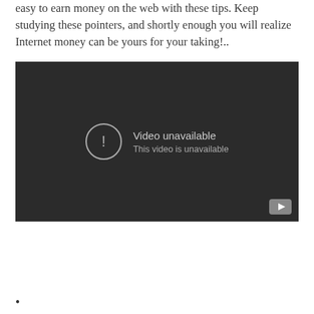easy to earn money on the web with these tips. Keep studying these pointers, and shortly enough you will realize Internet money can be yours for your taking!..
[Figure (screenshot): Embedded video player showing 'Video unavailable. This video is unavailable.' message on a dark background with YouTube icon in bottom right corner.]
•